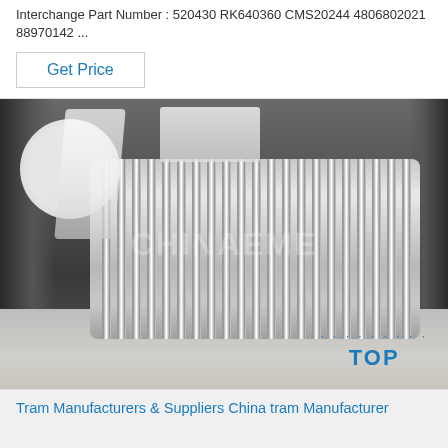Interchange Part Number : 520430 RK640360 CMS20244 4806802021 88970142 ...
Get Price
[Figure (photo): Industrial cylindrical component with metallic ribbed fins, photographed on a gray surface. A white circular watermark overlay and CHINAEME text watermark visible. TOP brand logo in blue bottom right corner.]
Tram Manufacturers & Suppliers China tram Manufacturer